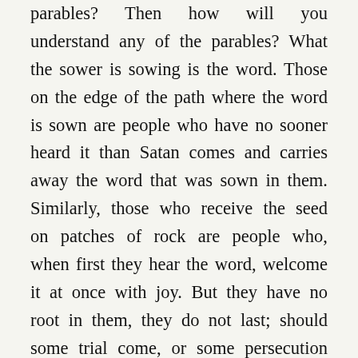parables? Then how will you understand any of the parables? What the sower is sowing is the word. Those on the edge of the path where the word is sown are people who have no sooner heard it than Satan comes and carries away the word that was sown in them. Similarly, those who receive the seed on patches of rock are people who, when first they hear the word, welcome it at once with joy. But they have no root in them, they do not last; should some trial come, or some persecution on account of the word, they fall away at once. Then there are others who receive the seed in thorns. These have heard the word, but the worries of this world, the lure of riches and all the other passions come in to choke the word, and so it produces nothing. And there are those who have received the seed in rich soil: they hear the word and accept it and yield a